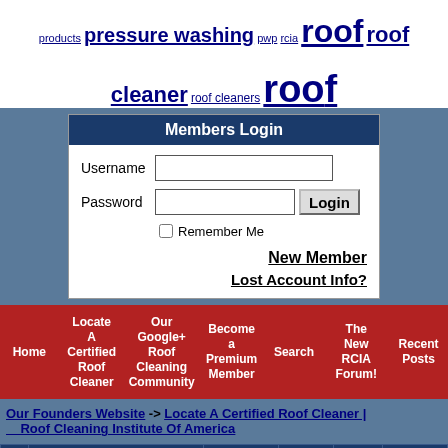products  pressure washing  pwp  rcia  roof  roof cleaner  roof cleaners  roof  equipment  roof cleaning houston texas  roof cleaning pa  roof cleaning pump  roof cleaning tampa  wash  roof washing  roofcleaning  roofing  safety  seo  shingle  shingles  simpsonville  soft wash  so  systems  spray wash  stains  tallahassee  tampa  tile  ugly shingles  wash  washing
[Figure (screenshot): Members Login form with Username and Password fields, Login button, Remember Me checkbox, New Member and Lost Account Info links]
[Figure (screenshot): Red navigation bar with links: Home, Locate A Certified Roof Cleaner, Our Google+ Roof Cleaning Community, Become a Premium Member, Search, The New RCIA Forum!, Recent Posts]
Our Founders Website -> Locate A Certified Roof Cleaner | Roof Cleaning Institute Of America
|  | Posts Tagged With "Gutter" | Forum | Replies | Views | Last Post |
| --- | --- | --- | --- | --- | --- |
| ☑ | Gutter Rinsing Gun | Shingle | 11 | 2794 | Sep 22, |